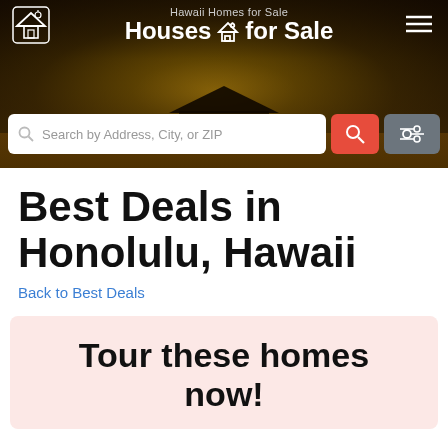Hawaii Homes for Sale
Houses for Sale
Search by Address, City, or ZIP
Best Deals in Honolulu, Hawaii
Back to Best Deals
Tour these homes now!